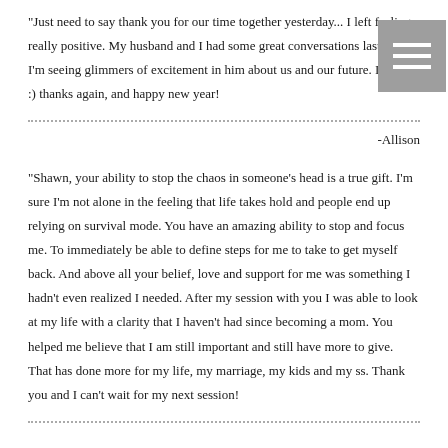"Just need to say thank you for our time together yesterday... I left feeling really positive. My husband and I had some great conversations last night. I'm seeing glimmers of excitement in him about us and our future. I love it :) thanks again, and happy new year!
-Allison
"Shawn, your ability to stop the chaos in someone's head is a true gift. I'm sure I'm not alone in the feeling that life takes hold and people end up relying on survival mode. You have an amazing ability to stop and focus me. To immediately be able to define steps for me to take to get myself back. And above all your belief, love and support for me was something I hadn't even realized I needed. After my session with you I was able to look at my life with a clarity that I haven't had since becoming a mom. You helped me believe that I am still important and still have more to give. That has done more for my life, my marriage, my kids and my ss. Thank you and I can't wait for my next session!